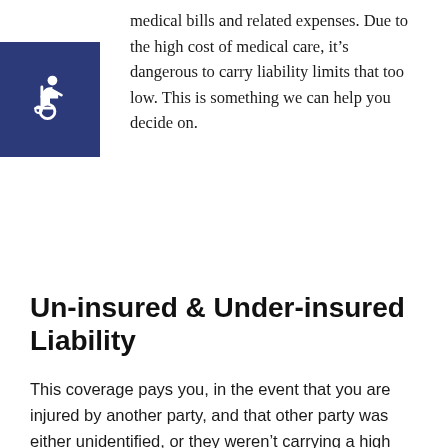medical bills and related expenses. Due to the high cost of medical care, it's dangerous to carry liability limits that too low. This is something we can help you decide on.
[Figure (illustration): Wheelchair accessibility icon — white wheelchair symbol on dark blue square background]
Un-insured & Under-insured Liability
This coverage pays you, in the event that you are injured by another party, and that other party was either unidentified, or they weren't carrying a high enough limit of Bodily Injury Liability to cover your expenses. This is also a very important part of your auto policy because you have zero control over how much insurance other people are driving around with.
Common Auto Insurance Rating Variables